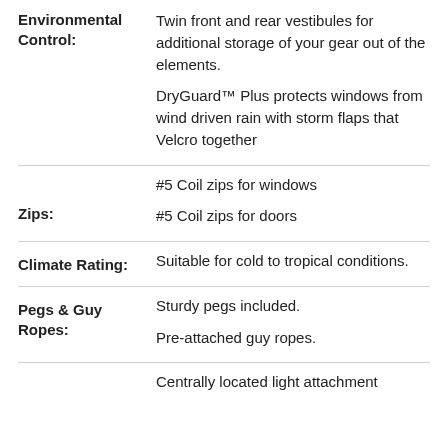Environmental Control: Twin front and rear vestibules for additional storage of your gear out of the elements.
Environmental Control: DryGuard™ Plus protects windows from wind driven rain with storm flaps that Velcro together
Zips: #5 Coil zips for windows
Zips: #5 Coil zips for doors
Climate Rating: Suitable for cold to tropical conditions.
Pegs & Guy Ropes: Sturdy pegs included.
Pegs & Guy Ropes: Pre-attached guy ropes.
Centrally located light attachment